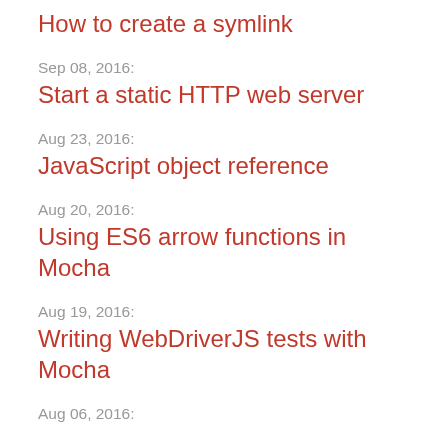How to create a symlink
Sep 08, 2016:
Start a static HTTP web server
Aug 23, 2016:
JavaScript object reference
Aug 20, 2016:
Using ES6 arrow functions in Mocha
Aug 19, 2016:
Writing WebDriverJS tests with Mocha
Aug 06, 2016: